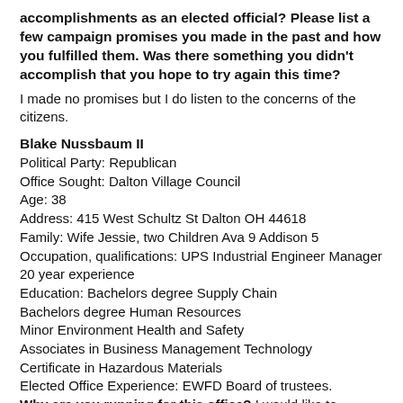accomplishments as an elected official? Please list a few campaign promises you made in the past and how you fulfilled them. Was there something you didn't accomplish that you hope to try again this time?
I made no promises but I do listen to the concerns of the citizens.
Blake Nussbaum II
Political Party: Republican
Office Sought: Dalton Village Council
Age: 38
Address: 415 West Schultz St Dalton OH 44618
Family: Wife Jessie, two Children Ava 9 Addison 5
Occupation, qualifications: UPS Industrial Engineer Manager 20 year experience
Education: Bachelors degree Supply Chain
Bachelors degree Human Resources
Minor Environment Health and Safety
Associates in Business Management Technology
Certificate in Hazardous Materials
Elected Office Experience: EWFD Board of trustees.
Why are you running for this office? I would like to continue to make Dalton one of the best places to live in Wayne County. I